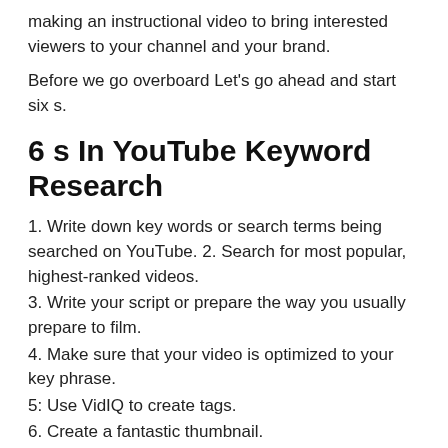making an instructional video to bring interested viewers to your channel and your brand.
Before we go overboard Let's go ahead and start six s.
6 s In YouTube Keyword Research
1. Write down key words or search terms being searched on YouTube. 2. Search for most popular, highest-ranked videos.
3. Write your script or prepare the way you usually prepare to film.
4. Make sure that your video is optimized to your key phrase.
5: Use VidIQ to create tags.
6. Create a fantastic thumbnail.